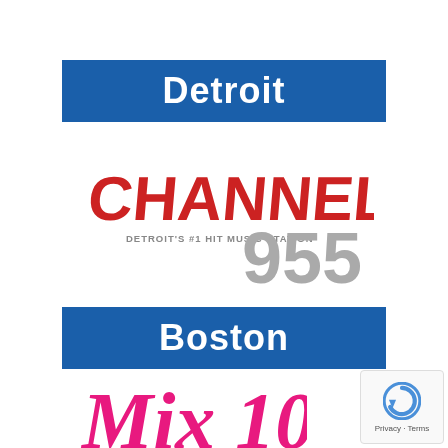Detroit
[Figure (logo): Channel 955 logo with red bold text 'CHANNEL' and gray '955', tagline 'DETROIT'S #1 HIT MUSIC STATION']
Boston
[Figure (logo): Mix 101.1 logo partial, pink/magenta cursive script partially visible at bottom]
[Figure (other): Google reCAPTCHA badge with Privacy and Terms links]